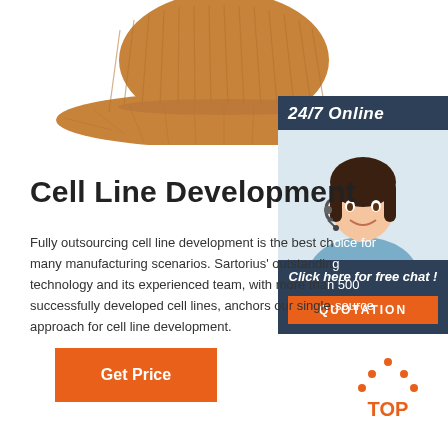[Figure (photo): Brown/tan corduroy bucket hat, bottom half cut off, centered at top of page]
[Figure (photo): Sidebar: dark blue panel with '24/7 Online' header, photo of smiling woman with headset, 'Click here for free chat!' text, and orange QUOTATION button]
Cell Line Development
Fully outsourcing cell line development is the best ch... many manufacturing scenarios. Sartorius' outstandin... technology and its experienced team, with more tha... successfully developed cell lines, anchors our single... approach for cell line development.
[Figure (other): Orange 'Get Price' button]
[Figure (other): Orange dotted triangle 'TOP' back-to-top icon, bottom right]